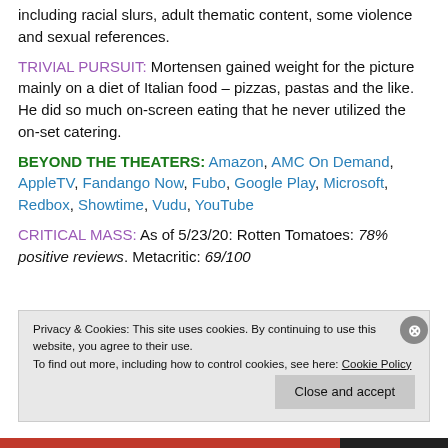including racial slurs, adult thematic content, some violence and sexual references.
TRIVIAL PURSUIT: Mortensen gained weight for the picture mainly on a diet of Italian food – pizzas, pastas and the like. He did so much on-screen eating that he never utilized the on-set catering.
BEYOND THE THEATERS: Amazon, AMC On Demand, AppleTV, Fandango Now, Fubo, Google Play, Microsoft, Redbox, Showtime, Vudu, YouTube
CRITICAL MASS: As of 5/23/20: Rotten Tomatoes: 78% positive reviews. Metacritic: 69/100
Privacy & Cookies: This site uses cookies. By continuing to use this website, you agree to their use. To find out more, including how to control cookies, see here: Cookie Policy